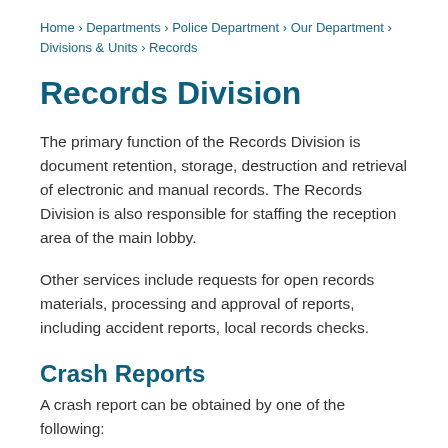Home › Departments › Police Department › Our Department › Divisions & Units › Records
Records Division
The primary function of the Records Division is document retention, storage, destruction and retrieval of electronic and manual records. The Records Division is also responsible for staffing the reception area of the main lobby.
Other services include requests for open records materials, processing and approval of reports, including accident reports, local records checks.
Crash Reports
A crash report can be obtained by one of the following:
Online.